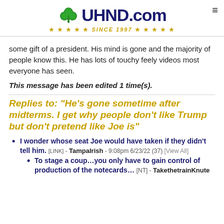[Figure (logo): UHND.com website logo with shamrock, navy blue text, gold stars and 'SINCE 1997' tagline]
some gift of a president. His mind is gone and the majority of people know this. He has lots of touchy feely videos most everyone has seen.
This message has been edited 1 time(s).
Replies to: "He's gone sometime after midterms. I get why people don't like Trump but don't pretend like Joe is"
I wonder whose seat Joe would have taken if they didn't tell him. [LINK] - TampaIrish - 9:08pm 6/23/22 (37) [View All]
To stage a coup...you only have to gain control of production of the notecards... [NT] - TakethetrainKnute